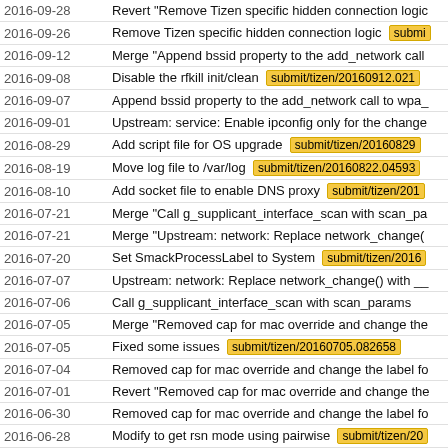| Date | Message |
| --- | --- |
| 2016-09-28 | Revert "Remove Tizen specific hidden connection logic |
| 2016-09-26 | Remove Tizen specific hidden connection logic  submit/tizen/... |
| 2016-09-12 | Merge "Append bssid property to the add_network call |
| 2016-09-08 | Disable the rfkill init/clean  submit/tizen/20160912.021 |
| 2016-09-07 | Append bssid property to the add_network call to wpa_ |
| 2016-09-01 | Upstream: service: Enable ipconfig only for the change |
| 2016-08-29 | Add script file for OS upgrade  submit/tizen/20160829 |
| 2016-08-19 | Move log file to /var/log  submit/tizen/20160822.04593 |
| 2016-08-10 | Add socket file to enable DNS proxy  submit/tizen/201 |
| 2016-07-21 | Merge "Call g_supplicant_interface_scan with scan_pa |
| 2016-07-21 | Merge "Upstream: network: Replace network_change( |
| 2016-07-20 | Set SmackProcessLabel to System  submit/tizen/2016 |
| 2016-07-07 | Upstream: network: Replace network_change() with __ |
| 2016-07-06 | Call g_supplicant_interface_scan with scan_params |
| 2016-07-05 | Merge "Removed cap for mac override and change the |
| 2016-07-05 | Fixed some issues  submit/tizen/20160705.082658 |
| 2016-07-04 | Removed cap for mac override and change the label fo |
| 2016-07-01 | Revert "Removed cap for mac override and change the |
| 2016-06-30 | Removed cap for mac override and change the label fo |
| 2016-06-28 | Modify to get rsn mode using pairwise  submit/tizen/20 |
| 2016-06-22 | Remove some features and modify service file  submi |
| 2016-06-22 | Fix Svace issue 102125  submit/tizen/20160622.0709 |
| 2016-06-17 | [SPIN] Apply system socket - onlycap support  submit |
| 2016-06-17 | [SPIN] Indicate auth-failed error. |
| 2016-06-17 | [SPIN] Fix wireless issues in connman. |
| 2016-06-17 | [SPIN] Check if network is already removed in connec... |